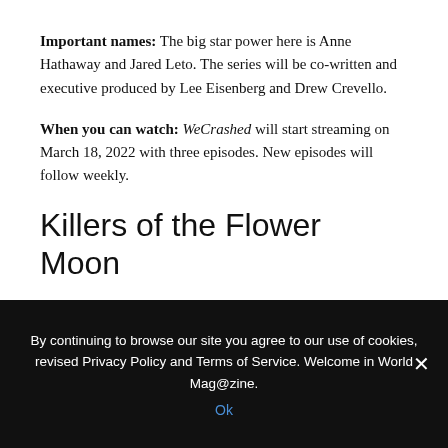Important names: The big star power here is Anne Hathaway and Jared Leto. The series will be co-written and executive produced by Lee Eisenberg and Drew Crevello.
When you can watch: WeCrashed will start streaming on March 18, 2022 with three episodes. New episodes will follow weekly.
Killers of the Flower Moon
What it's about: Based on the book Killers Of The Flower Moon: The Osage Murders And The Birth Of The FBI. It tells the story of a series of murders of wealthy Osage Native Americans in Oklahoma
By continuing to browse our site you agree to our use of cookies, revised Privacy Policy and Terms of Service. Welcome in World Mag@zine.
Ok